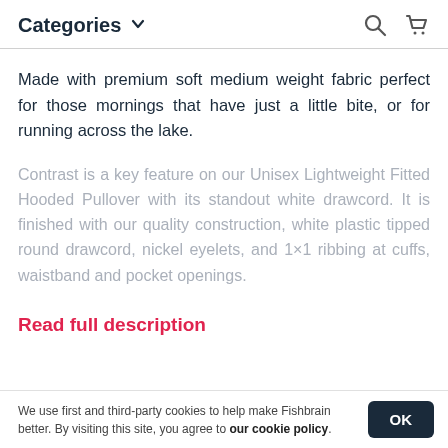Categories
Made with premium soft medium weight fabric perfect for those mornings that have just a little bite, or for running across the lake.
Contrast is a key feature on our Unisex Lightweight Fitted Hooded Pullover with its standout white drawcord. It is finished with our quality construction, white plastic tipped round drawcord, nickel eyelets, and 1×1 ribbing at cuffs, waistband and pocket openings.
Read full description
We use first and third-party cookies to help make Fishbrain better. By visiting this site, you agree to our cookie policy.